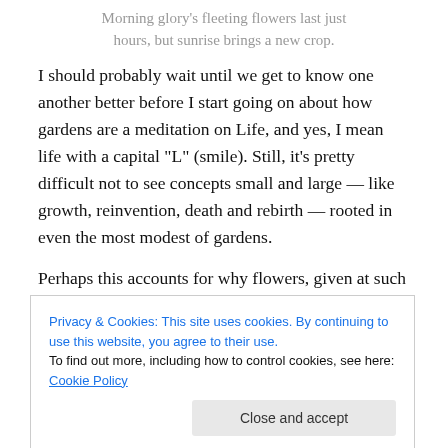Morning glory's fleeting flowers last just hours, but sunrise brings a new crop.
I should probably wait until we get to know one another better before I start going on about how gardens are a meditation on Life, and yes, I mean life with a capital “L” (smile). Still, it’s pretty difficult not to see concepts small and large — like growth, reinvention, death and rebirth — rooted in even the most modest of gardens.
Perhaps this accounts for why flowers, given at such joyous occasions as birthdays and anniversaries, are also
Privacy & Cookies: This site uses cookies. By continuing to use this website, you agree to their use.
To find out more, including how to control cookies, see here: Cookie Policy
metaphor?) is Morning Glory. As the moniker suggests, it